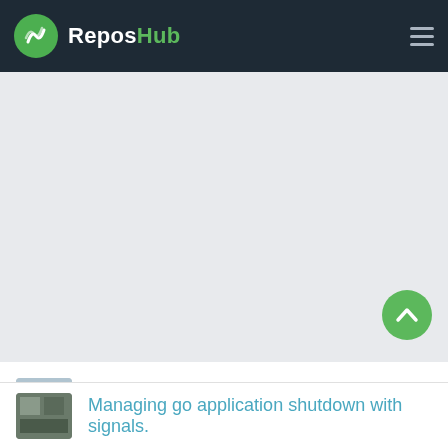ReposHub
[Figure (other): Large gray content area placeholder]
Emit player death event in Mineflayer.
Managing go application shutdown with signals.